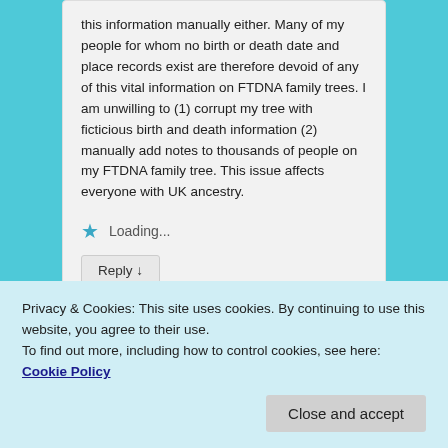this information manually either. Many of my people for whom no birth or death date and place records exist are therefore devoid of any of this vital information on FTDNA family trees. I am unwilling to (1) corrupt my tree with ficticious birth and death information (2) manually add notes to thousands of people on my FTDNA family tree. This issue affects everyone with UK ancestry.
Loading...
Reply ↓
Privacy & Cookies: This site uses cookies. By continuing to use this website, you agree to their use.
To find out more, including how to control cookies, see here: Cookie Policy
Close and accept